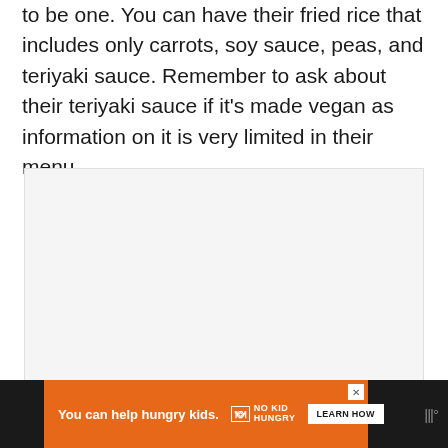to be one. You can have their fried rice that includes only carrots, soy sauce, peas, and teriyaki sauce. Remember to ask about their teriyaki sauce if it's made vegan as information on it is very limited in their menu.
[Figure (photo): A large image placeholder box with light gray background]
[Figure (other): Advertisement banner: orange background with 'You can help hungry kids.' text, No Kid Hungry logo, and Learn How button on dark background]